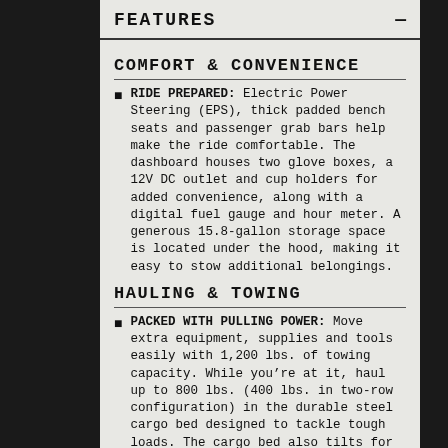FEATURES
COMFORT & CONVENIENCE
RIDE PREPARED: Electric Power Steering (EPS), thick padded bench seats and passenger grab bars help make the ride comfortable. The dashboard houses two glove boxes, a 12V DC outlet and cup holders for added convenience, along with a digital fuel gauge and hour meter. A generous 15.8-gallon storage space is located under the hood, making it easy to stow additional belongings.
HAULING & TOWING
PACKED WITH PULLING POWER: Move extra equipment, supplies and tools easily with 1,200 lbs. of towing capacity. While you're at it, haul up to 800 lbs. (400 lbs. in two-row configuration) in the durable steel cargo bed designed to tackle tough loads. The cargo bed also tilts for easy access to